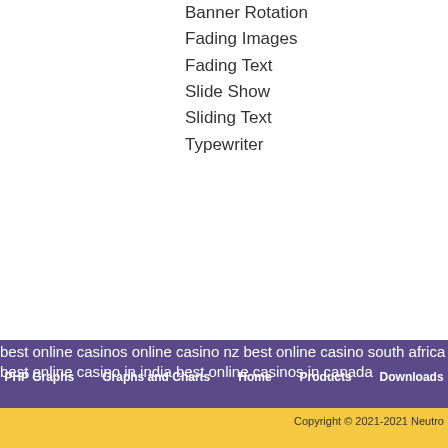Banner Rotation
Fading Images
Fading Text
Slide Show
Sliding Text
Typewriter
best online casinos online casino nz best online casino south africa best online casino in india best online casinos in canada
PHP Graphs   Graphs and Charts   Home   Products   Downloads
Copyright © 2021-2021 Neutro